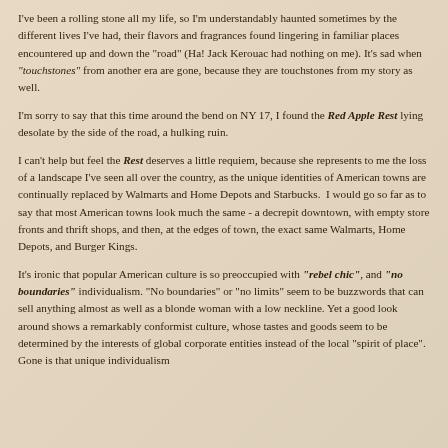I've been a rolling stone all my life, so I'm understandably haunted sometimes by the different lives I've had, their flavors and fragrances found lingering in familiar places encountered up and down the "road" (Ha! Jack Kerouac had nothing on me). It's sad when "touchstones" from another era are gone, because they are touchstones from my story as well.
I'm sorry to say that this time around the bend on NY 17, I found the Red Apple Rest lying desolate by the side of the road, a hulking ruin.
I can't help but feel the Rest deserves a little requiem, because she represents to me the loss of a landscape I've seen all over the country, as the unique identities of American towns are continually replaced by Walmarts and Home Depots and Starbucks. I would go so far as to say that most American towns look much the same - a decrepit downtown, with empty store fronts and thrift shops, and then, at the edges of town, the exact same Walmarts, Home Depots, and Burger Kings.
It's ironic that popular American culture is so preoccupied with "rebel chic", and "no boundaries" individualism. "No boundaries" or "no limits" seem to be buzzwords that can sell anything almost as well as a blonde woman with a low neckline. Yet a good look around shows a remarkably conformist culture, whose tastes and goods seem to be determined by the interests of global corporate entities instead of the local "spirit of place". Gone is that unique individualism